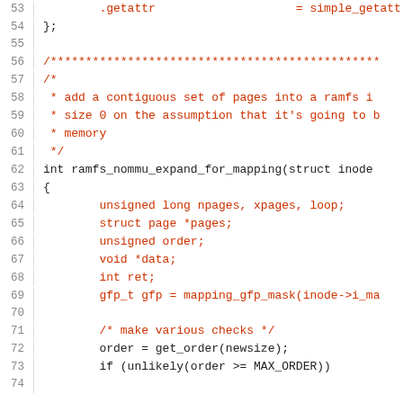53    .getattr                    = simple_getatt
54    };
55
56    /***********************************************
57    /*
58     * add a contiguous set of pages into a ramfs i
59     * size 0 on the assumption that it's going to b
60     * memory
61     */
62    int ramfs_nommu_expand_for_mapping(struct inode
63    {
64            unsigned long npages, xpages, loop;
65            struct page *pages;
66            unsigned order;
67            void *data;
68            int ret;
69            gfp_t gfp = mapping_gfp_mask(inode->i_ma
70
71            /* make various checks */
72            order = get_order(newsize);
73            if (unlikely(order >= MAX_ORDER))
74